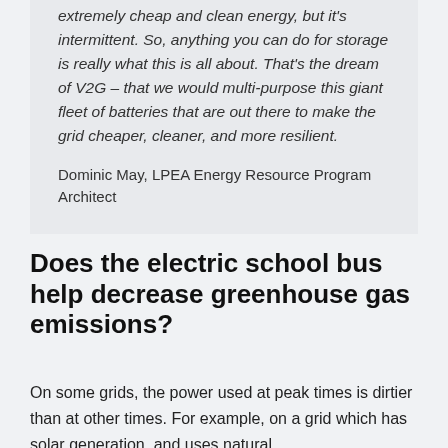extremely cheap and clean energy, but it's intermittent. So, anything you can do for storage is really what this is all about. That's the dream of V2G – that we would multi-purpose this giant fleet of batteries that are out there to make the grid cheaper, cleaner, and more resilient.
Dominic May, LPEA Energy Resource Program Architect
Does the electric school bus help decrease greenhouse gas emissions?
On some grids, the power used at peak times is dirtier than at other times. For example, on a grid which has solar generation, and uses natural